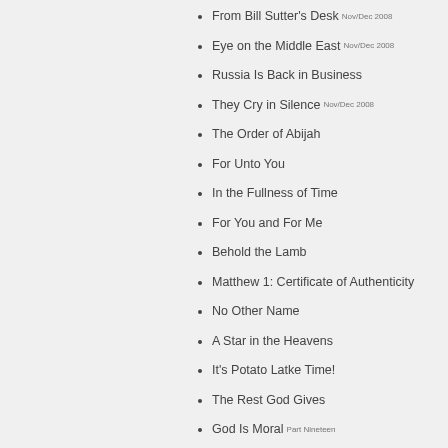From Bill Sutter's Desk Nov/Dec 2008
Eye on the Middle East Nov/Dec 2008
Russia Is Back in Business
They Cry in Silence Nov/Dec 2008
The Order of Abijah
For Unto You
In the Fullness of Time
For You and For Me
Behold the Lamb
Matthew 1: Certificate of Authenticity
No Other Name
A Star in the Heavens
It's Potato Latke Time!
The Rest God Gives
God Is Moral Part Nineteen
Israel in the News Nov/Dec 2008